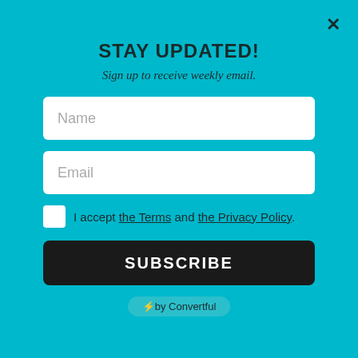[Figure (screenshot): Background photo of outdoor/travel items on a wooden surface with green foliage]
Luxurious Inflatable Bubble Tent
This bubble tent is a wonderful travel accessory equipped with great versatility. Instead of lying in the darkness of an old school tent or sitting inside at home watching the rain, you could be in a transparent inflatable bubble tent....
Via Amazon
STAY UPDATED!
Sign up to receive weekly email.
Name
Email
I accept the Terms and the Privacy Policy.
SUBSCRIBE
⚡by Convertful